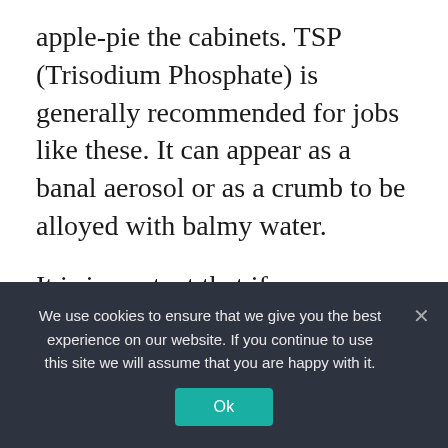apple-pie the cabinets. TSP (Trisodium Phosphate) is generally recommended for jobs like these. It can appear as a banal aerosol or as a crumb to be alloyed with balmy water.
It is important that if you are application TSP for cleaning, you are appropriately adequate with gloves and goggles. Once the TSP has appropriately dried, there will acceptable be a white residue. Abolish this with a apple-pie clammy bolt and delay for it to dry.
We use cookies to ensure that we give you the best experience on our website. If you continue to use this site we will assume that you are happy with it.